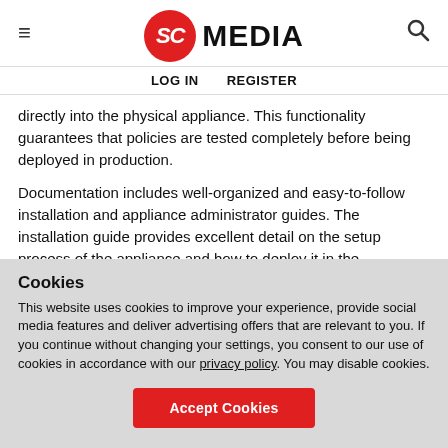SC MEDIA — LOG IN  REGISTER
directly into the physical appliance. This functionality guarantees that policies are tested completely before being deployed in production.
Documentation includes well-organized and easy-to-follow installation and appliance administrator guides. The installation guide provides excellent detail on the setup process of the appliance and how to deploy it in the
Cookies
This website uses cookies to improve your experience, provide social media features and deliver advertising offers that are relevant to you. If you continue without changing your settings, you consent to our use of cookies in accordance with our privacy policy. You may disable cookies.
Accept Cookies